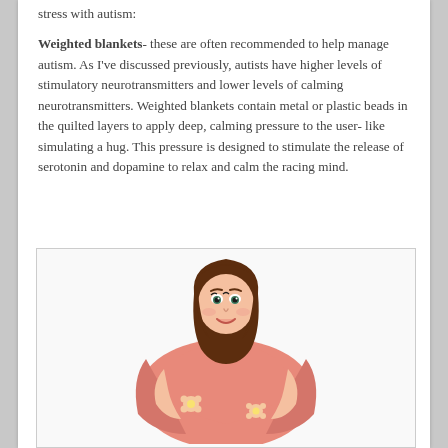stress with autism: Weighted blankets- these are often recommended to help manage autism. As I've discussed previously, autists have higher levels of stimulatory neurotransmitters and lower levels of calming neurotransmitters. Weighted blankets contain metal or plastic beads in the quilted layers to apply deep, calming pressure to the user- like simulating a hug. This pressure is designed to stimulate the release of serotonin and dopamine to relax and calm the racing mind.
[Figure (illustration): Cartoon bitmoji illustration of a girl with long brown hair wrapped in a pink blanket with white flower patterns, hugging herself and smiling.]